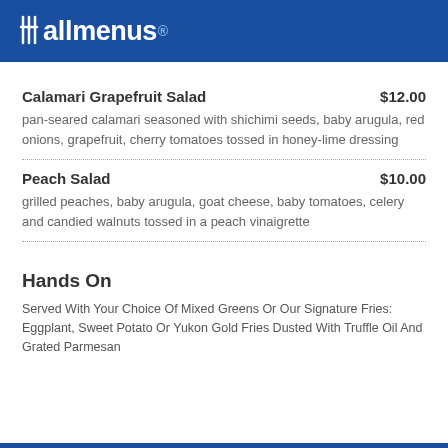allmenus
Calamari Grapefruit Salad  $12.00
pan-seared calamari seasoned with shichimi seeds, baby arugula, red onions, grapefruit, cherry tomatoes tossed in honey-lime dressing
Peach Salad  $10.00
grilled peaches, baby arugula, goat cheese, baby tomatoes, celery and candied walnuts tossed in a peach vinaigrette
Hands On
Served With Your Choice Of Mixed Greens Or Our Signature Fries: Eggplant, Sweet Potato Or Yukon Gold Fries Dusted With Truffle Oil And Grated Parmesan